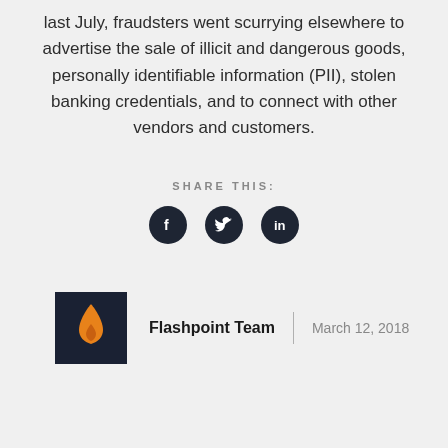last July, fraudsters went scurrying elsewhere to advertise the sale of illicit and dangerous goods, personally identifiable information (PII), stolen banking credentials, and to connect with other vendors and customers.
SHARE THIS:
[Figure (infographic): Social share icons: Facebook, Twitter, LinkedIn — dark circular buttons]
Flashpoint Team | March 12, 2018